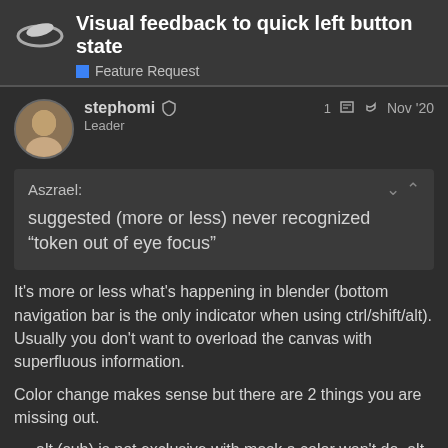Visual feedback to quick left button state
Feature Request
stephomi 🛡 Leader    1 ✏ ↩   Nov '20
Aszrael:
suggested (more or less) never recognized “token out of eye focus”
It's more or less what's happening in blender (bottom navigation bar is the only indicator when using ctrl/shift/alt).
Usually you don't want to overload the canvas with superfluous information.
Color change makes sense but there are 2 things you are missing out.
alt (sub) is not exclusive with mask a color won't do, alt could change the c
5 / 7